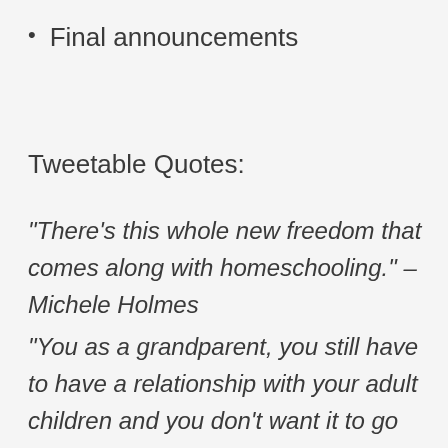Final announcements
Tweetable Quotes:
“There’s this whole new freedom that comes along with homeschooling.” – Michele Holmes
“You as a grandparent, you still have to have a relationship with your adult children and you don’t want it to go sideways.” – Michele Holmes